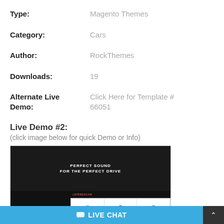Type: Magento Themes
Category: Cars
Author: RockThemes
Downloads: 19
Alternate Live Demo: Click Here for Template # 66051
Live Demo #2:
(click image below for quick Demo or Info)
[Figure (screenshot): Screenshot of StereoCar Magento theme showing a car audio store with ZEMEZ badge, dark hero image with text 'PERFECT SOUND FOR THE PERFECT DRIVE', StereoCar logo and branding on left panel, product grid on right, red 'CAR AUDIO STORE RESPONSIVE MAGENTO THEME' banner, discount badge, and JVC AUDIO product tile.]
LIVE CHAT